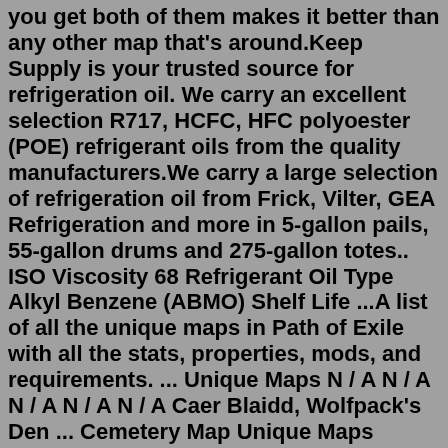you get both of them makes it better than any other map that's around.Keep Supply is your trusted source for refrigeration oil. We carry an excellent selection R717, HCFC, HFC polyoester (POE) refrigerant oils from the quality manufacturers.We carry a large selection of refrigeration oil from Frick, Vilter, GEA Refrigeration and more in 5-gallon pails, 55-gallon drums and 275-gallon totes.. ISO Viscosity 68 Refrigerant Oil Type Alkyl Benzene (ABMO) Shelf Life ...A list of all the unique maps in Path of Exile with all the stats, properties, mods, and requirements. ... Unique Maps N / A N / A N / A N / A N / A Caer Blaidd, Wolfpack's Den ... Cemetery Map Unique Maps ...Spirit Jellyfish is a Wildlife Creature in Elden Ring. Spirit Jellyfish are usually non-hostile, but if aggroed, they will fire poison and will try to headbutt their opponents.. A Spirit Jellyfish can be summoned for aid in battle by using the Spirit Jellyfish Ashes.. Ethereal beings usually found near places of rest, acting as protectors. They are usually peaceful, but if angered, they attack ...They can be used to raise the